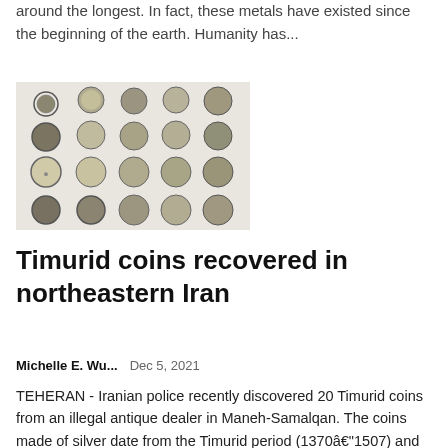around the longest. In fact, these metals have existed since the beginning of the earth. Humanity has...
[Figure (photo): Photo of approximately 20 Timurid silver coins arranged in rows on a white background]
Timurid coins recovered in northeastern Iran
Michelle E. Wu...   Dec 5, 2021
TEHERAN - Iranian police recently discovered 20 Timurid coins from an illegal antique dealer in Maneh-Samalqan. The coins made of silver date from the Timurid period (1370–1507) and were screened when the police...